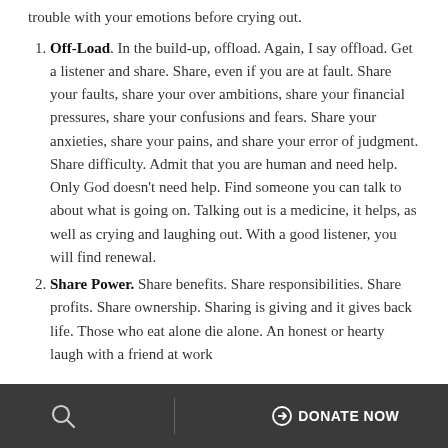trouble with your emotions before crying out.
Off-Load. In the build-up, offload. Again, I say offload. Get a listener and share. Share, even if you are at fault. Share your faults, share your over ambitions, share your financial pressures, share your confusions and fears. Share your anxieties, share your pains, and share your error of judgment. Share difficulty. Admit that you are human and need help. Only God doesn't need help. Find someone you can talk to about what is going on. Talking out is a medicine, it helps, as well as crying and laughing out. With a good listener, you will find renewal.
Share Power. Share benefits. Share responsibilities. Share profits. Share ownership. Sharing is giving and it gives back life. Those who eat alone die alone. An honest or hearty laugh with a friend at work...